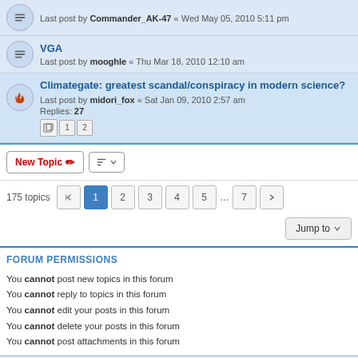Last post by Commander_AK-47 « Wed May 05, 2010 5:11 pm
VGA
Last post by mooghle « Thu Mar 18, 2010 12:10 am
Climategate: greatest scandal/conspiracy in modern science?
Last post by midori_fox « Sat Jan 09, 2010 2:57 am
Replies: 27
175 topics
FORUM PERMISSIONS
You cannot post new topics in this forum
You cannot reply to topics in this forum
You cannot edit your posts in this forum
You cannot delete your posts in this forum
You cannot post attachments in this forum
Board index | Contact us | Delete cookies | All times are UTC-06:00
Powered by phpBB® Forum Software © phpBB Limited
Privacy | Terms